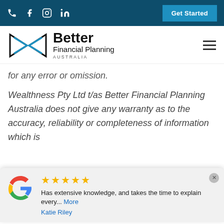Better Financial Planning Australia — navigation bar with phone, facebook, instagram, linkedin icons and Get Started button
[Figure (logo): Better Financial Planning Australia logo with abstract bowtie/arrow icon in black and blue, company name in bold]
for any error or omission.
Wealthness Pty Ltd t/as Better Financial Planning Australia does not give any warranty as to the accuracy, reliability or completeness of information which is contained in this website. Every time for as
[Figure (screenshot): Google review popup showing 5 stars, text 'Has extensive knowledge, and takes the time to explain every... More', reviewer name Katie Riley]
Financial Planning Australia and its